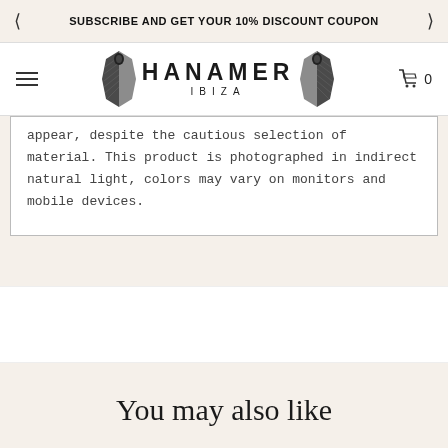SUBSCRIBE AND GET YOUR 10% DISCOUNT COUPON
[Figure (logo): Hanamer Ibiza logo with stylized beetle/scarab wings on each side and text HANAMER IBIZA]
appear, despite the cautious selection of material. This product is photographed in indirect natural light, colors may vary on monitors and mobile devices.
You may also like